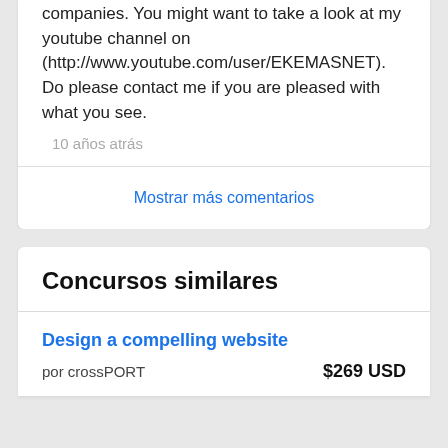companies. You might want to take a look at my youtube channel on (http://www.youtube.com/user/EKEMASNET). Do please contact me if you are pleased with what you see.
10 años atrás
Mostrar más comentarios
Concursos similares
Design a compelling website
por crossPORT
$269 USD